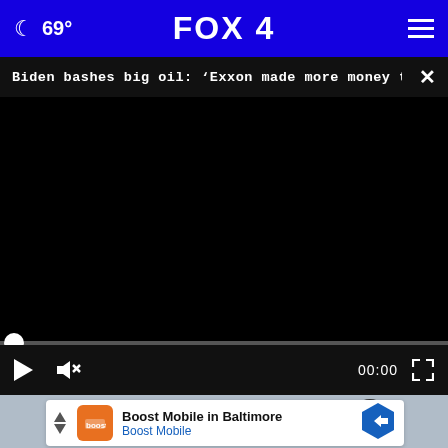69° FOX 4
Biden bashes big oil: 'Exxon made more money tha...
[Figure (screenshot): Video player with black screen, progress bar at start (00:00), play button, mute button, and fullscreen icon on dark control bar]
[Figure (photo): Close-up of a person wearing sunglasses with red lipstick, light background]
Boost Mobile in Baltimore
Boost Mobile